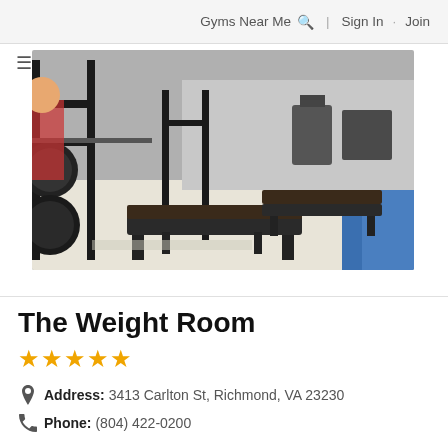Gyms Near Me 🔍 | Sign In · Join
[Figure (photo): Interior photo of The Weight Room gym showing barbell racks, weight plates, and workout benches on a light-colored floor with blue mat in the background]
The Weight Room
★★★★★
Address: 3413 Carlton St, Richmond, VA 23230
Phone: (804) 422-0200